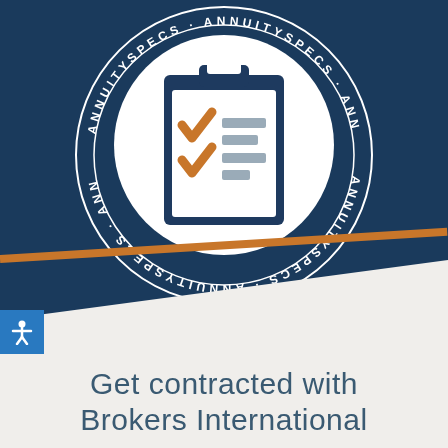[Figure (logo): AnnuitySpecs circular badge logo with a clipboard icon featuring two orange checkmarks and grey lines, with 'ANNUITYSPECS' text repeated around the circle border on a dark navy background]
[Figure (illustration): Blue accessibility icon (person with arms outstretched) on a blue square button]
Get contracted with Brokers International